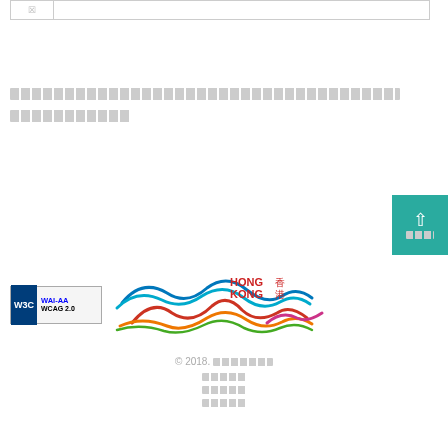|  |  |
| --- | --- |
| ☒ |  |
[redacted text block - two lines of placeholder content]
[Figure (logo): W3C WAI-AA WCAG 2.0 accessibility compliance badge]
[Figure (logo): Hong Kong Tourism Board logo with colorful wave design and HONG KONG text]
© 2018. [redacted] [redacted] [redacted] [redacted]